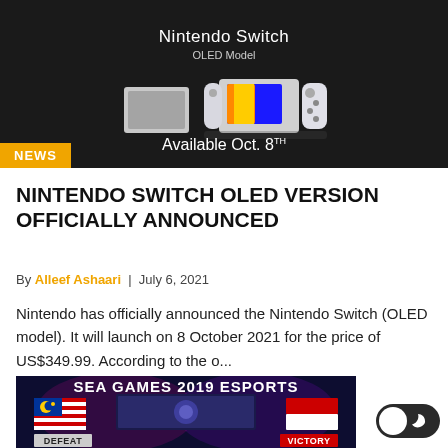[Figure (photo): Nintendo Switch OLED Model promotional image on dark background with text 'Available Oct. 8th' and a NEWS badge in the bottom left corner]
NINTENDO SWITCH OLED VERSION OFFICIALLY ANNOUNCED
By Alleef Ashaari | July 6, 2021
Nintendo has officially announced the Nintendo Switch (OLED model). It will launch on 8 October 2021 for the price of US$349.99. According to the o...
[Figure (photo): SEA GAMES 2019 ESPORTS image showing Malaysia and Indonesia flags with DEFEAT and VICTORY labels at the bottom]